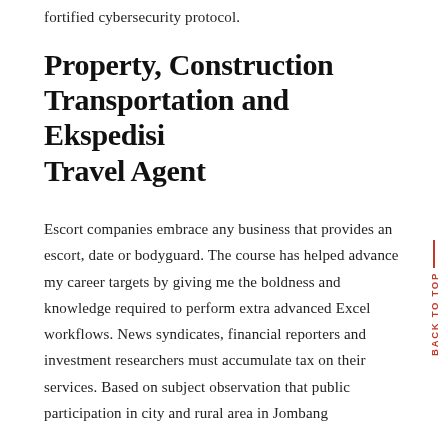fortified cybersecurity protocol.
Property, Construction Transportation and Ekspedisi Travel Agent
Escort companies embrace any business that provides an escort, date or bodyguard. The course has helped advance my career targets by giving me the boldness and knowledge required to perform extra advanced Excel workflows. News syndicates, financial reporters and investment researchers must accumulate tax on their services. Based on subject observation that public participation in city and rural area in Jombang